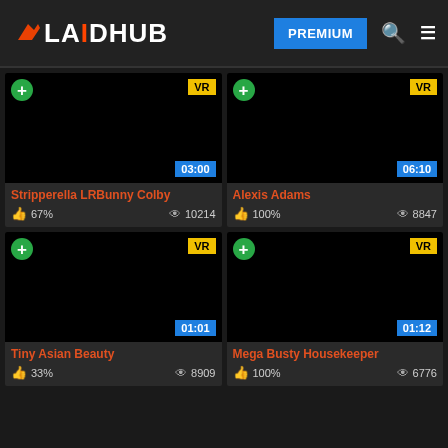LAIDHUB | PREMIUM | Search | Menu
[Figure (screenshot): Video thumbnail - black screen, VR badge, duration 03:00]
Stripperella LRBunny Colby
67% | 10214 views
[Figure (screenshot): Video thumbnail - black screen, VR badge, duration 06:10]
Alexis Adams
100% | 8847 views
[Figure (screenshot): Video thumbnail - black screen, VR badge, duration 01:01]
Tiny Asian Beauty
33% | 8909 views
[Figure (screenshot): Video thumbnail - black screen, VR badge, duration 01:12]
Mega Busty Housekeeper
100% | 6776 views